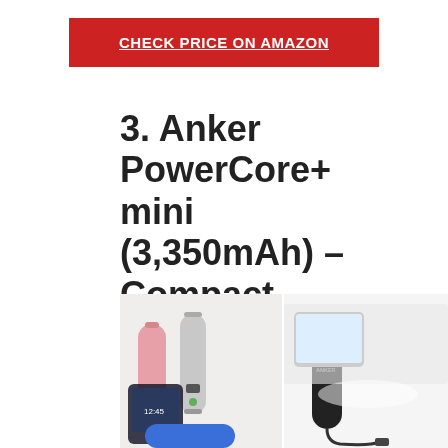CHECK PRICE ON AMAZON
3. Anker PowerCore+ mini (3,350mAh) – Compact portable charger
[Figure (photo): Product photos of the Anker PowerCore+ mini portable charger. Left image shows pink and silver cylindrical power banks alongside a smartphone. Right image shows a black cylindrical power bank connected to a phone via cable on a white surface.]